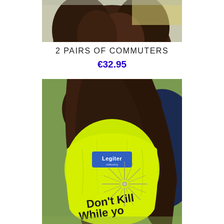[Figure (photo): Top portion of a photo showing a person's hair/head from behind, cropped at the top of the page]
2 PAIRS OF COMMUTERS
€32.95
[Figure (photo): Photo of a bright yellow-green high-visibility backpack cover worn by a person, showing a blue 'Legiter' logo patch, a reflective starburst design, and text reading 'Don't Kill... While yo...' on the back]